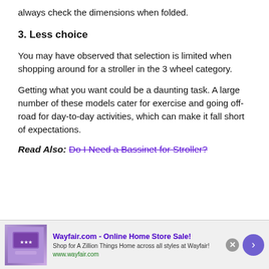always check the dimensions when folded.
3. Less choice
You may have observed that selection is limited when shopping around for a stroller in the 3 wheel category.
Getting what you want could be a daunting task. A large number of these models cater for exercise and going off-road for day-to-day activities, which can make it fall short of expectations.
Read Also: Do I Need a Bassinet for Stroller?
[Figure (other): Wayfair.com advertisement banner with purple product image, text 'Wayfair.com - Online Home Store Sale! Shop for A Zillion Things Home across all styles at Wayfair! www.wayfair.com', close button, and forward arrow button]